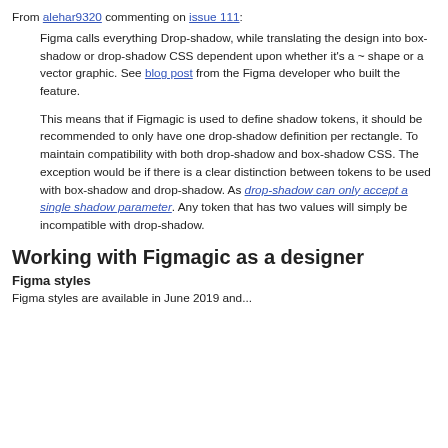From alehar9320 commenting on issue 111:
Figma calls everything Drop-shadow, while translating the design into box-shadow or drop-shadow CSS dependent upon whether it's a ~ shape or a vector graphic. See blog post from the Figma developer who built the feature.

This means that if Figmagic is used to define shadow tokens, it should be recommended to only have one drop-shadow definition per rectangle. To maintain compatibility with both drop-shadow and box-shadow CSS. The exception would be if there is a clear distinction between tokens to be used with box-shadow and drop-shadow. As drop-shadow can only accept a single shadow parameter. Any token that has two values will simply be incompatible with drop-shadow.
Working with Figmagic as a designer
Figma styles
Figma styles are available in June 2019 and...